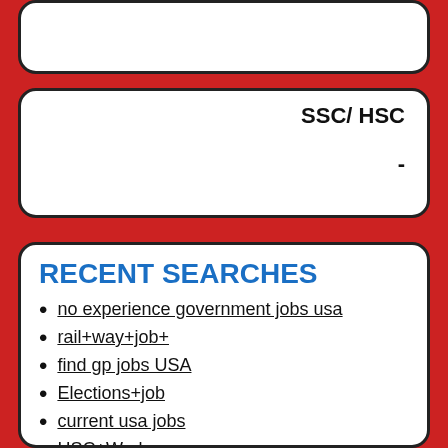[Figure (other): White rounded rectangle box at top (search input box, empty)]
SSC/ HSC
-
RECENT SEARCHES
no experience government jobs usa
rail+way+job+
find gp jobs USA
Elections+job
current usa jobs
HSC+Works